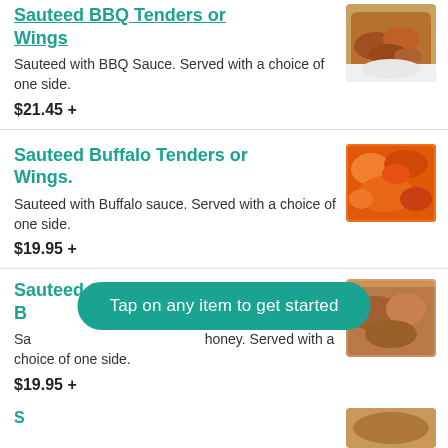Sauteed BBQ Tenders or Wings
Sauteed with BBQ Sauce. Served with a choice of one side.
$21.45 +
Sauteed Buffalo Tenders or Wings.
Sauteed with Buffalo sauce. Served with a choice of one side.
$19.95 +
Sauteed Sweet Onion Honey B...
Sa... honey. Served with a choice of one side.
$19.95 +
Tap on any item to get started